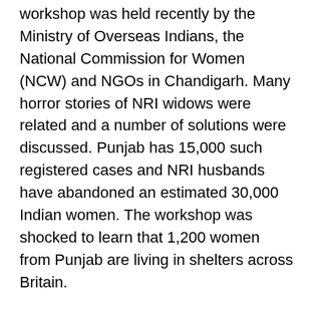workshop was held recently by the Ministry of Overseas Indians, the National Commission for Women (NCW) and NGOs in Chandigarh. Many horror stories of NRI widows were related and a number of solutions were discussed. Punjab has 15,000 such registered cases and NRI husbands have abandoned an estimated 30,000 Indian women. The workshop was shocked to learn that 1,200 women from Punjab are living in shelters across Britain.
The NRI marriage racket also involves Indian grooms. Many young men see their marriage with an NRI girl a passport to the good life abroad. These growing numbers of 'passport weddings' enjoin an Indian and a NRI holding British, American and Canadian citizenships.
NCW chairperson Girija Vyas called for establishing women's cells in Indian embassies abroad to tackle the offences in NRI weddings. She pointed out the need to enhance support systems for women trapped in distress